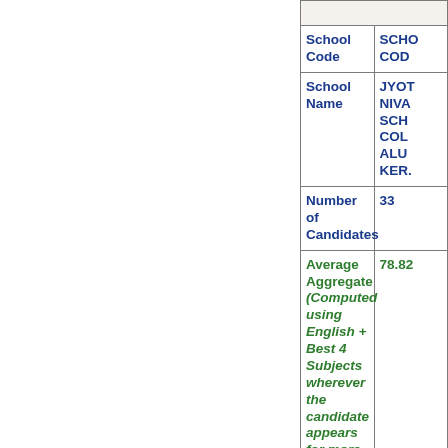| School Code | SCHOOL CODE |
| --- | --- |
| School Name | JYOTI NIVAS SCHOOL COLLEGE ALUVA KERALA |
| Number of Candidates | 33 |
| Average Aggregate (Computed using English + Best 4 Subjects wherever the candidate appears for more than | 78.82 |